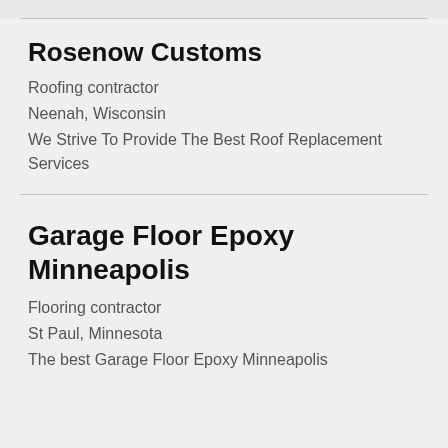Rosenow Customs
Roofing contractor
Neenah, Wisconsin
We Strive To Provide The Best Roof Replacement Services
Garage Floor Epoxy Minneapolis
Flooring contractor
St Paul, Minnesota
The best Garage Floor Epoxy Minneapolis